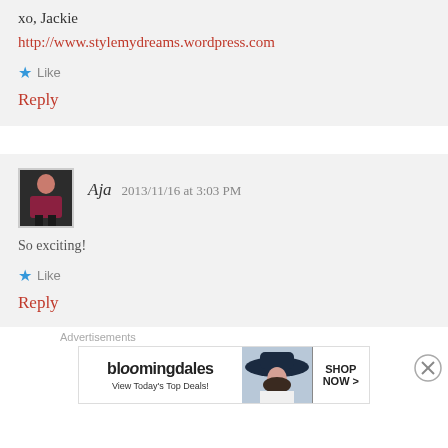xo, Jackie
http://www.stylemydreams.wordpress.com
Like
Reply
Aja  2013/11/16 at 3:03 PM
So exciting!
Like
Reply
Advertisements
[Figure (other): Bloomingdales advertisement banner: 'View Today's Top Deals!' with SHOP NOW > button and image of woman in wide-brim hat]